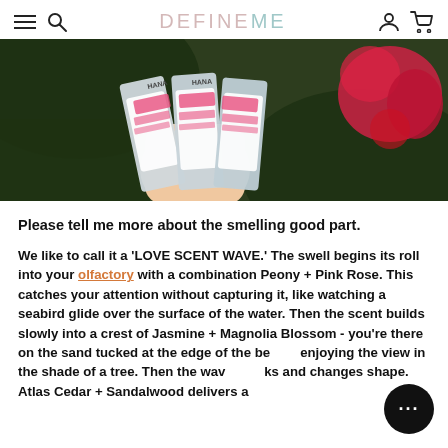DEFINE ME (navigation bar with menu, search, account, cart icons)
[Figure (photo): A hand holding multiple perfume/fragrance product boxes with pink and white labeling, with a red flower visible in the background against green foliage.]
Please tell me more about the smelling good part.
We like to call it a ‘LOVE SCENT WAVE.’ The swell begins its roll into your olfactory with a combination Peony + Pink Rose. This catches your attention without capturing it, like watching a seabird glide over the surface of the water. Then the scent builds slowly into a crest of Jasmine + Magnolia Blossom - you’re there on the sand tucked at the edge of the beach, enjoying the view in the shade of a tree. Then the wave breaks and changes shape. Atlas Cedar + Sandalwood delivers a